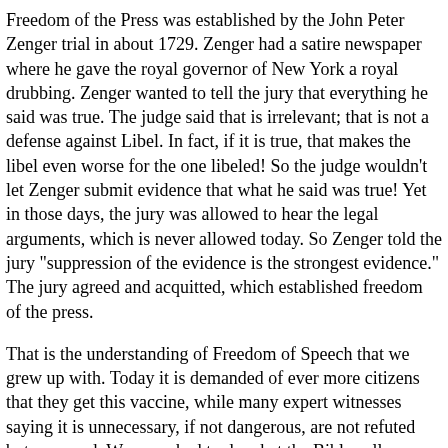Freedom of the Press was established by the John Peter Zenger trial in about 1729. Zenger had a satire newspaper where he gave the royal governor of New York a royal drubbing. Zenger wanted to tell the jury that everything he said was true. The judge said that is irrelevant; that is not a defense against Libel. In fact, if it is true, that makes the libel even worse for the one libeled! So the judge wouldn't let Zenger submit evidence that what he said was true! Yet in those days, the jury was allowed to hear the legal arguments, which is never allowed today. So Zenger told the jury "suppression of the evidence is the strongest evidence." The jury agreed and acquitted, which established freedom of the press.
That is the understanding of Freedom of Speech that we grew up with. Today it is demanded of ever more citizens that they get this vaccine, while many expert witnesses saying it is unnecessary, if not dangerous, are not refuted but censored. We are asked to do what the Bible calls foolish and a national shame.
Pro 18:13 He that answereth a matter before he heareth it, it is folly and shame unto him.
As I indicated, it is beyond my understanding to judge the competing claims about the physical impact of our three glorious covid vaccines.